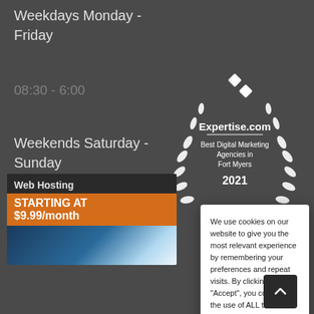Weekdays Monday - Friday
08:30 - 6:00
Weekends Saturday - Sunday
Closed
[Figure (logo): Expertise.com badge — Best Digital Marketing Agencies in Fort Myers 2021]
[Figure (screenshot): Web Hosting ad — Starting at $9.99/month]
We use cookies on our website to give you the most relevant experience by remembering your preferences and repeat visits. By clicking "Accept", you consent to the use of ALL the cookies.
Do not sell my personal information.
Cookie Settings | Accept